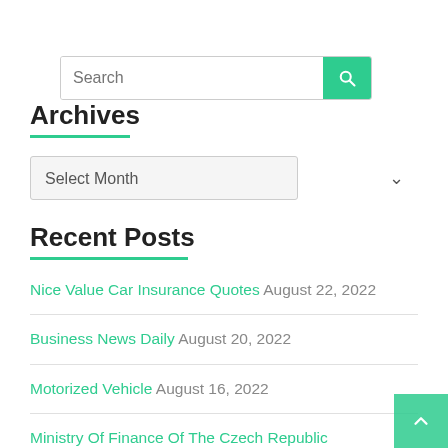Search
Archives
Select Month
Recent Posts
Nice Value Car Insurance Quotes August 22, 2022
Business News Daily August 20, 2022
Motorized Vehicle August 16, 2022
Ministry Of Finance Of The Czech Republic August 14, 2022